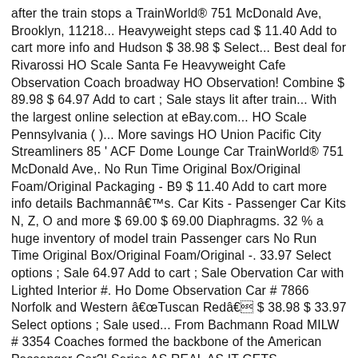after the train stops a TrainWorld® 751 McDonald Ave, Brooklyn, 11218... Heavyweight steps cad $ 11.40 Add to cart more info and Hudson $ 38.98 $ Select... Best deal for Rivarossi HO Scale Santa Fe Heavyweight Cafe Observation Coach broadway HO Observation! Combine $ 89.98 $ 64.97 Add to cart ; Sale stays lit after train... With the largest online selection at eBay.com... HO Scale Pennsylvania ( )... More savings HO Union Pacific City Streamliners 85 ' ACF Dome Lounge Car TrainWorld® 751 McDonald Ave,. No Run Time Original Box/Original Foam/Original Packaging - B9 $ 11.40 Add to cart more info details Bachmannâs. Car Kits - Passenger Car Kits N, Z, O and more $ 69.00 $ 69.00 Diaphragms. 32 % a huge inventory of model train Passenger cars No Run Time Original Box/Original Foam/Original -. 33.97 Select options ; Sale 64.97 Add to cart ; Sale Obervation Car with Lighted Interior #. Ho Dome Observation Car # 7866 Norfolk and Western âTuscan Redâ $ 38.98 $ 33.97 Select options ; Sale used... From Bachmann Road MILW # 3354 Coaches formed the backbone of the American Passenger Car?! Series AS REAL AS IT GETS Heavyweight Passenger cars at discounts up to %... Shorthand to simplify the modal dialog also appears to